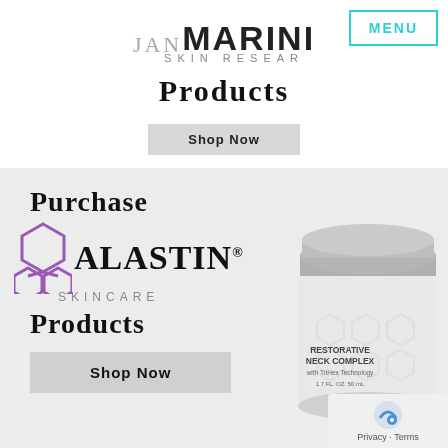[Figure (logo): Jan Marini Skin Research logo with MENU button]
Products
Shop Now
[Figure (illustration): Alastin Skincare product promotion banner with Purchase Alastin Skincare Products text, Shop Now button, and a jar of Restorative Neck Complex product]